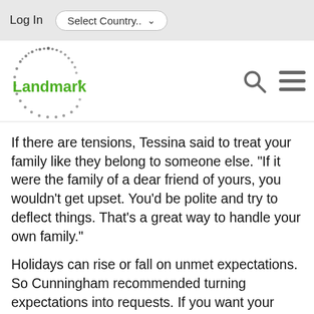Log In  Select Country..
[Figure (logo): Landmark logo with dotted circle and green 'Landmark' text, plus search and hamburger menu icons]
If there are tensions, Tessina said to treat your family like they belong to someone else. "If it were the family of a dear friend of yours, you wouldn't get upset. You'd be polite and try to deflect things. That's a great way to handle your own family."
Holidays can rise or fall on unmet expectations. So Cunningham recommended turning expectations into requests. If you want your guests to be on time, tell them. "We have a lot planned, so please try to be here by 6." If you expect people to dress up for dinner, express it ahead. Want help in the kitchen or people to stand clear? Say it.